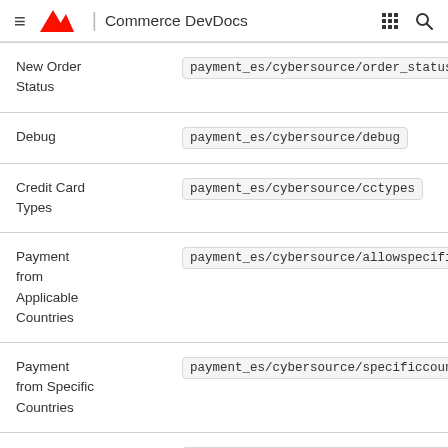≡ Adobe | Commerce DevDocs
| Field | Config Path |
| --- | --- |
| New Order Status | payment_es/cybersource/order_status |
| Debug | payment_es/cybersource/debug |
| Credit Card Types | payment_es/cybersource/cctypes |
| Payment from Applicable Countries | payment_es/cybersource/allowspecific |
| Payment from Specific Countries | payment_es/cybersource/specificcountry |
| Minimum Order Total | payment_es/cybersource/min_order_total |